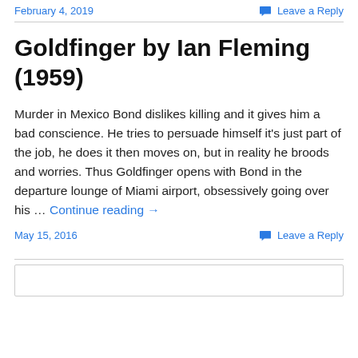February 4, 2019   Leave a Reply
Goldfinger by Ian Fleming (1959)
Murder in Mexico Bond dislikes killing and it gives him a bad conscience. He tries to persuade himself it's just part of the job, he does it then moves on, but in reality he broods and worries. Thus Goldfinger opens with Bond in the departure lounge of Miami airport, obsessively going over his … Continue reading →
May 15, 2016   Leave a Reply